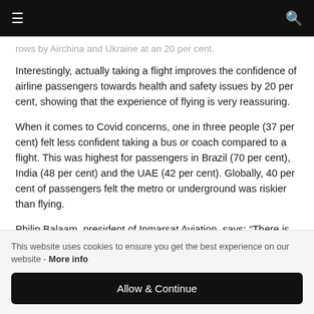☰  🔍
rows by Airchina and Ukraine at an 20 per cent.
Interestingly, actually taking a flight improves the confidence of airline passengers towards health and safety issues by 20 per cent, showing that the experience of flying is very reassuring.
When it comes to Covid concerns, one in three people (37 per cent) felt less confident taking a bus or coach compared to a flight. This was highest for passengers in Brazil (70 per cent), India (48 per cent) and the UAE (42 per cent). Globally, 40 per cent of passengers felt the metro or underground was riskier than flying.
Philip Balaam, president of Inmarsat Aviation, says: “There is no denying that the past 18 months has been a turbulent time for airlines and passengers alike. However, the latest International Air Transport Association (IATA) figures show that demand for both
This website uses cookies to ensure you get the best experience on our website - More info
Allow & Continue